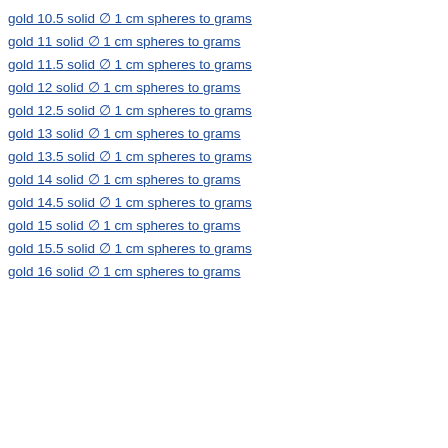gold 10.5 solid ∅ 1 cm spheres to grams
gold 11 solid ∅ 1 cm spheres to grams
gold 11.5 solid ∅ 1 cm spheres to grams
gold 12 solid ∅ 1 cm spheres to grams
gold 12.5 solid ∅ 1 cm spheres to grams
gold 13 solid ∅ 1 cm spheres to grams
gold 13.5 solid ∅ 1 cm spheres to grams
gold 14 solid ∅ 1 cm spheres to grams
gold 14.5 solid ∅ 1 cm spheres to grams
gold 15 solid ∅ 1 cm spheres to grams
gold 15.5 solid ∅ 1 cm spheres to grams
gold 16 solid ∅ 1 cm spheres to grams